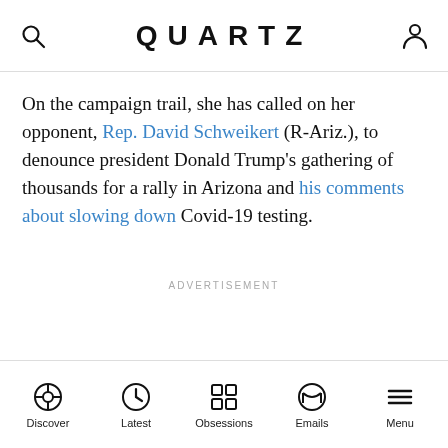QUARTZ
On the campaign trail, she has called on her opponent, Rep. David Schweikert (R-Ariz.), to denounce president Donald Trump's gathering of thousands for a rally in Arizona and his comments about slowing down Covid-19 testing.
ADVERTISEMENT
Discover  Latest  Obsessions  Emails  Menu